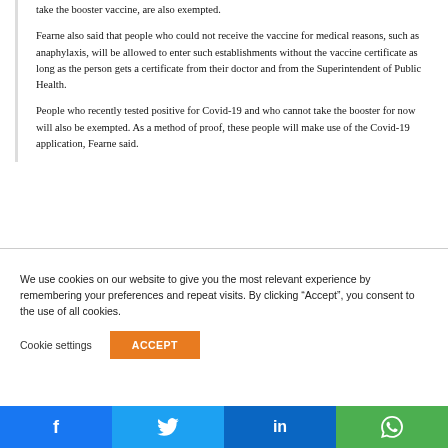take the booster vaccine, are also exempted.
Fearne also said that people who could not receive the vaccine for medical reasons, such as anaphylaxis, will be allowed to enter such establishments without the vaccine certificate as long as the person gets a certificate from their doctor and from the Superintendent of Public Health.
People who recently tested positive for Covid-19 and who cannot take the booster for now will also be exempted. As a method of proof, these people will make use of the Covid-19 application, Fearne said.
We use cookies on our website to give you the most relevant experience by remembering your preferences and repeat visits. By clicking “Accept”, you consent to the use of all cookies.
Cookie settings
ACCEPT
Facebook Twitter LinkedIn WhatsApp